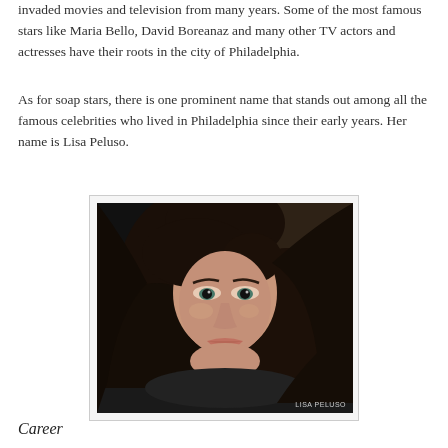invaded movies and television from many years. Some of the most famous stars like Maria Bello, David Boreanaz and many other TV actors and actresses have their roots in the city of Philadelphia.
As for soap stars, there is one prominent name that stands out among all the famous celebrities who lived in Philadelphia since their early years. Her name is Lisa Peluso.
[Figure (photo): Portrait photo of Lisa Peluso, a woman with long dark hair, looking towards the camera. Photo credit label reads 'Lisa Peluso' in the lower right corner.]
Career